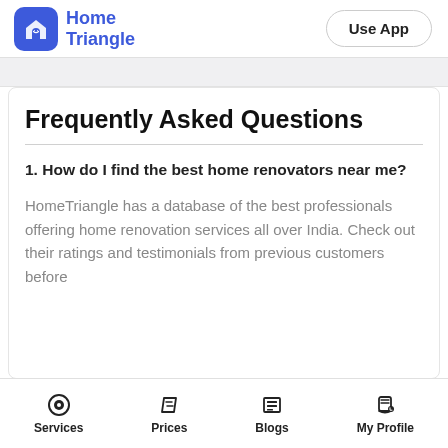Home Triangle | Use App
Frequently Asked Questions
1. How do I find the best home renovators near me?
HomeTriangle has a database of the best professionals offering home renovation services all over India. Check out their ratings and testimonials from previous customers before
Services | Prices | Blogs | My Profile